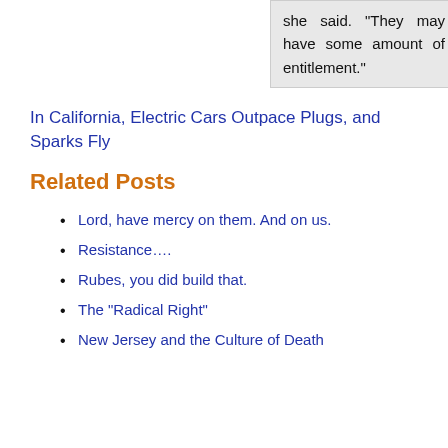she said. “They may have some amount of entitlement.”
In California, Electric Cars Outpace Plugs, and Sparks Fly
Related Posts
Lord, have mercy on them. And on us.
Resistance….
Rubes, you did build that.
The “Radical Right”
New Jersey and the Culture of Death